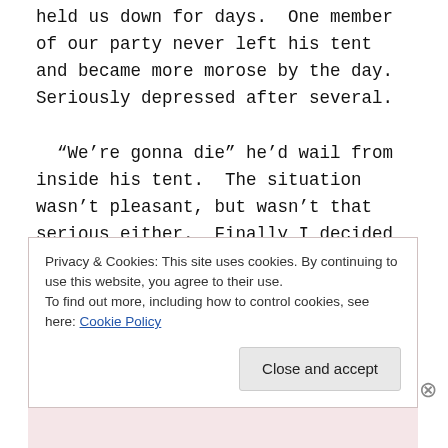held us down for days.  One member of our party never left his tent and became more morose by the day.  Seriously depressed after several.

  “We’re gonna die” he’d wail from inside his tent.  The situation wasn’t pleasant, but wasn’t that serious either.  Finally I decided to stick my head in and try to assuage his fears only to be nearly overcome with horrible odor of freeze-dried
Privacy & Cookies: This site uses cookies. By continuing to use this website, you agree to their use.
To find out more, including how to control cookies, see here: Cookie Policy
Close and accept